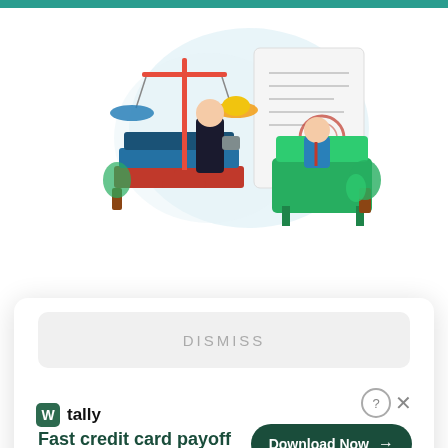[Figure (illustration): Legal illustration showing a lawyer with a balance scale, books, and a person sitting at a green desk with documents]
WHY LAWYERS SHOULD MONITOR MARKET SIGNALS TO WIN MORE BUSINESS
[Figure (screenshot): Teal card section partially visible with yellow bulge shape]
[Figure (screenshot): Popup overlay with DISMISS button and Tally ad: Fast credit card payoff with Download Now button]